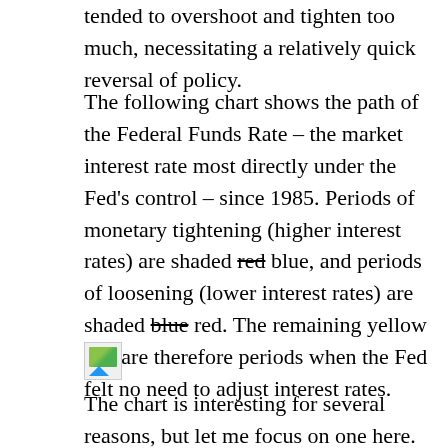tended to overshoot and tighten too much, necessitating a relatively quick reversal of policy.
The following chart shows the path of the Federal Funds Rate – the market interest rate most directly under the Fed's control – since 1985. Periods of monetary tightening (higher interest rates) are shaded red [strikethrough] blue, and periods of loosening (lower interest rates) are shaded blue [strikethrough] red. The remaining yellow bits are therefore periods when the Fed felt no need to adjust interest rates.
[Figure (other): Broken/missing image placeholder icon showing a small image with green and blue colors]
The chart is interesting for several reasons, but let me focus on one here. During each of the past three episodes of monetary tightening, the Fed quickly